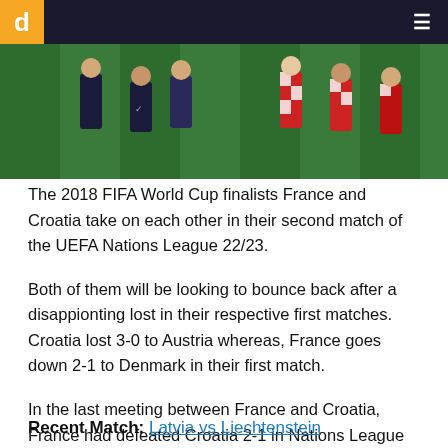d
[Figure (photo): Soccer match scene showing players in jerseys on a green football pitch, two teams visible — one in dark jerseys and one in Croatia red/white checkered jerseys.]
The 2018 FIFA World Cup finalists France and Croatia take on each other in their second match of the UEFA Nations League 22/23.
Both of them will be looking to bounce back after a disappionting lost in their respective first matches. Croatia lost 3-0 to Austria whereas, France goes down 2-1 to Denmark in their first match.
In the last meeting between France and Croatia, France had defeated Croatia 2-1 in Nations League back in 2020.
Recent Match: Latvia vs Liechtenstein